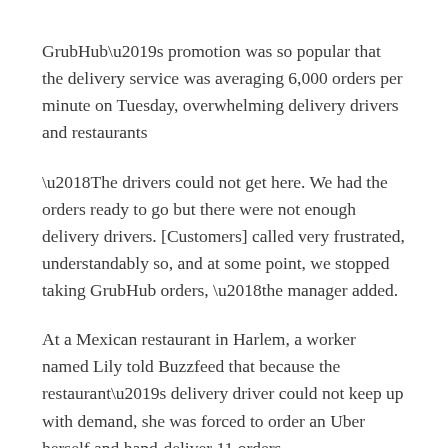GrubHub’s promotion was so popular that the delivery service was averaging 6,000 orders per minute on Tuesday, overwhelming delivery drivers and restaurants
‘The drivers could not get here. We had the orders ready to go but there were not enough delivery drivers. [Customers] called very frustrated, understandably so, and at some point, we stopped taking GrubHub orders,‘the manager added.
At a Mexican restaurant in Harlem, a worker named Lily told Buzzfeed that because the restaurant’s delivery driver could not keep up with demand, she was forced to order an Uber herself and hand-deliver 11 orders.
‘INSANITY,’ she told Buzzfeed of her day.